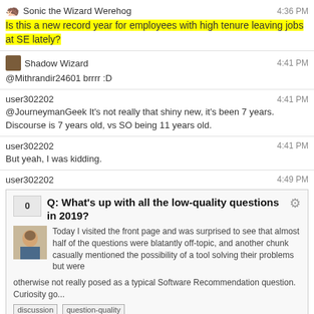Sonic the Wizard Werehog — 4:36 PM
Is this a new record year for employees with high tenure leaving jobs at SE lately?
Shadow Wizard — 4:41 PM
@Mithrandir24601 brrrr :D
user302202 — 4:41 PM
@JourneymanGeek It's not really that shiny new, it's been 7 years. Discourse is 7 years old, vs SO being 11 years old.
user302202 — 4:41 PM
But yeah, I was kidding.
user302202 — 4:49 PM
[Figure (screenshot): Embedded Stack Exchange post card: vote score 0, title 'Q: What's up with all the low-quality questions in 2019?', excerpt about front page off-topic questions, tags: discussion, question-quality]
user302202 — 4:50 PM
That's an impressive bump... I expected AQW redirection to softwarerecs to contribute there, but the bump predates it.
rene — 4:56 PM